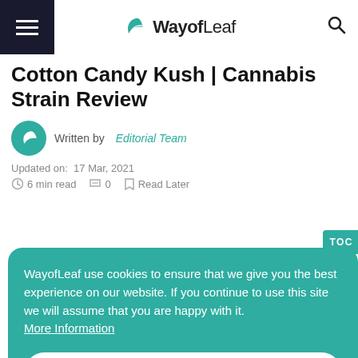WayofLeaf
Cotton Candy Kush | Cannabis Strain Review
Written by Editorial Team
Updated on: 17 Mar, 2021
6 min read  0  Read Later
WayofLeaf use cookies to ensure that we give you the best experience on our website. If you continue to use this site we will assume that you are happy with it. More Information
ACCEPT
strain's for you! Cotton candy strain is indica-